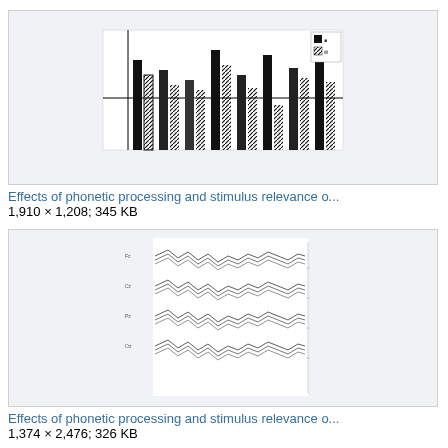[Figure (other): Thumbnail of a grouped bar chart showing effects of phonetic processing and stimulus relevance. Black and hatched bars arranged in groups across multiple conditions. A horizontal reference line crosses the chart.]
Effects of phonetic processing and stimulus relevance o...
1,910 × 1,208; 345 KB
[Figure (other): Thumbnail of an ERP waveform figure showing multiple overlapping waveforms arranged in rows, representing effects of phonetic processing and stimulus relevance. Lines with multiple traces running horizontally.]
Effects of phonetic processing and stimulus relevance o...
1,374 × 2,476; 326 KB